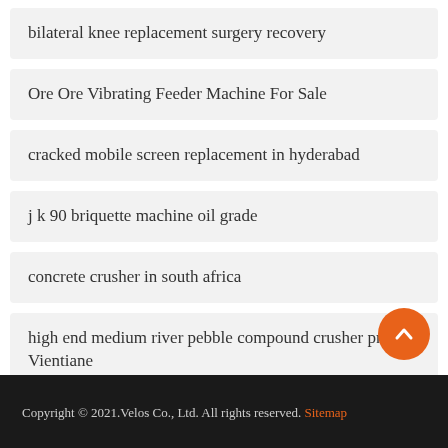bilateral knee replacement surgery recovery
Ore Ore Vibrating Feeder Machine For Sale
cracked mobile screen replacement in hyderabad
j k 90 briquette machine oil grade
concrete crusher in south africa
high end medium river pebble compound crusher price in Vientiane
Copyright © 2021.Velos Co., Ltd. All rights reserved. Sitemap